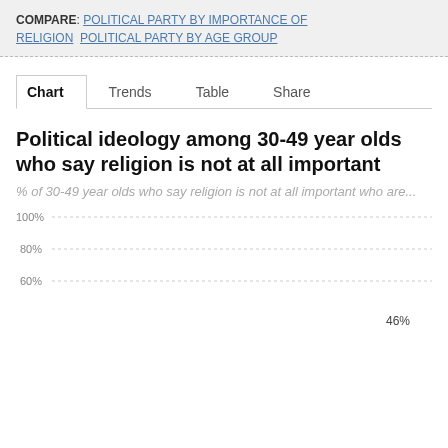COMPARE: POLITICAL PARTY BY IMPORTANCE OF RELIGION  POLITICAL PARTY BY AGE GROUP
Chart  Trends  Table  Share
Political ideology among 30-49 year olds who say religion is not at all important
% of 30-49 year olds who say religion is not at all important who are...
[Figure (bar-chart): Political ideology among 30-49 year olds who say religion is not at all important]